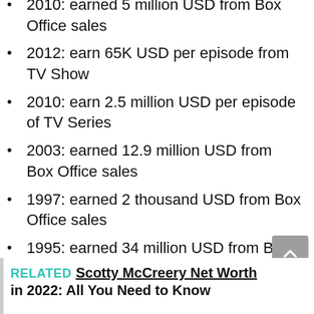2010: earned 5 million USD from Box Office sales
2012: earn 65K USD per episode from TV Show
2010: earn 2.5 million USD per episode of TV Series
2003: earned 12.9 million USD from Box Office sales
1997: earned 2 thousand USD from Box Office sales
1995: earned 34 million USD from Box Office sales
1994: earned 7.8 million USD from Box Office sales
And others
RELATED  Scotty McCreery Net Worth in 2022: All You Need to Know